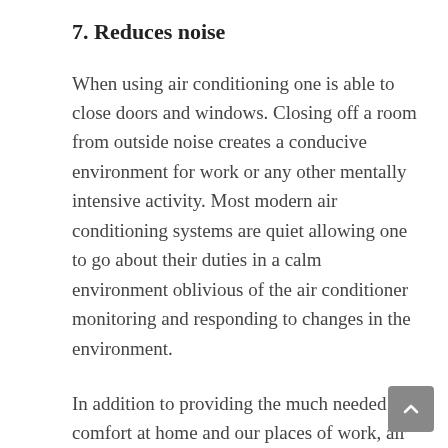7. Reduces noise
When using air conditioning one is able to close doors and windows. Closing off a room from outside noise creates a conducive environment for work or any other mentally intensive activity. Most modern air conditioning systems are quiet allowing one to go about their duties in a calm environment oblivious of the air conditioner monitoring and responding to changes in the environment.
In addition to providing the much needed comfort at home and our places of work, air conditioning provides us with safety and prevents conditions that can lead to illness. A good air condition system is a valuable